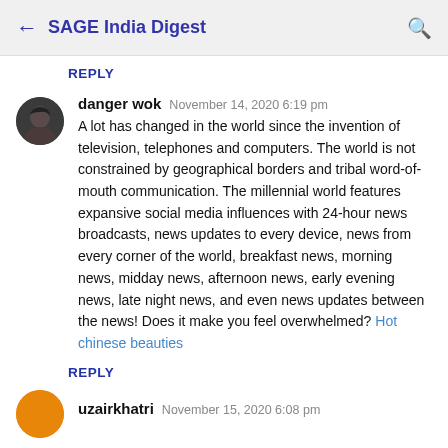← SAGE India Digest 🔍
REPLY
danger wok   November 14, 2020 6:19 pm

A lot has changed in the world since the invention of television, telephones and computers. The world is not constrained by geographical borders and tribal word-of-mouth communication. The millennial world features expansive social media influences with 24-hour news broadcasts, news updates to every device, news from every corner of the world, breakfast news, morning news, midday news, afternoon news, early evening news, late night news, and even news updates between the news! Does it make you feel overwhelmed? Hot chinese beauties
REPLY
uzairkhatri   November 15, 2020 6:08 pm